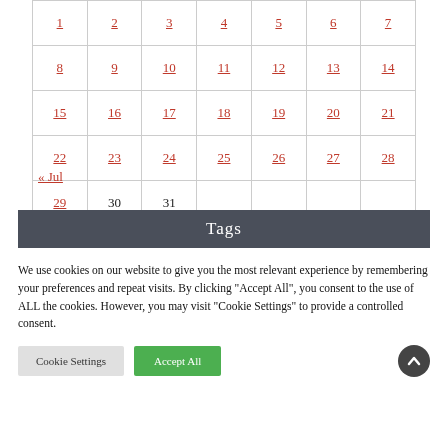| 1 | 2 | 3 | 4 | 5 | 6 | 7 |
| 8 | 9 | 10 | 11 | 12 | 13 | 14 |
| 15 | 16 | 17 | 18 | 19 | 20 | 21 |
| 22 | 23 | 24 | 25 | 26 | 27 | 28 |
| 29 | 30 | 31 |  |  |  |  |
« Jul
Tags
We use cookies on our website to give you the most relevant experience by remembering your preferences and repeat visits. By clicking “Accept All”, you consent to the use of ALL the cookies. However, you may visit "Cookie Settings" to provide a controlled consent.